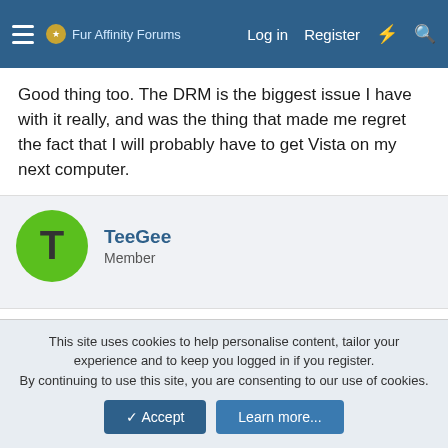Fur Affinity Forums  Log in  Register
Good thing too. The DRM is the biggest issue I have with it really, and was the thing that made me regret the fact that I will probably have to get Vista on my next computer.
TeeGee
Member
Apr 30, 2007  #23
Are you sure you want to post a new reply? Click Yes to proceed.
Are you absolutely sure you want to click yes? Click Yes to
This site uses cookies to help personalise content, tailor your experience and to keep you logged in if you register.
By continuing to use this site, you are consenting to our use of cookies.